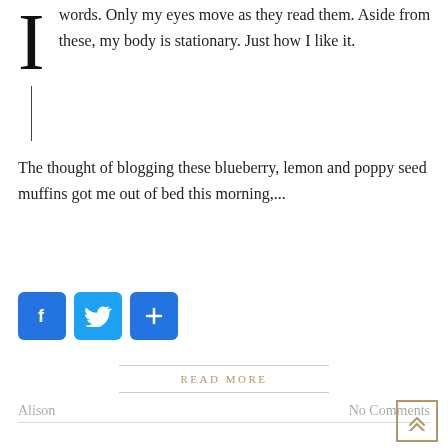words. Only my eyes move as they read them. Aside from these, my body is stationary. Just how I like it.
The thought of blogging these blueberry, lemon and poppy seed muffins got me out of bed this morning,...
[Figure (other): Social share buttons: Facebook (blue rounded square with 'f'), Twitter (blue rounded square with bird icon), and a blue rounded square with '+' icon]
READ MORE
Alison
No Comments
[Figure (other): Back to top button: a tan/gold bordered square with double upward chevron (^^) arrow]